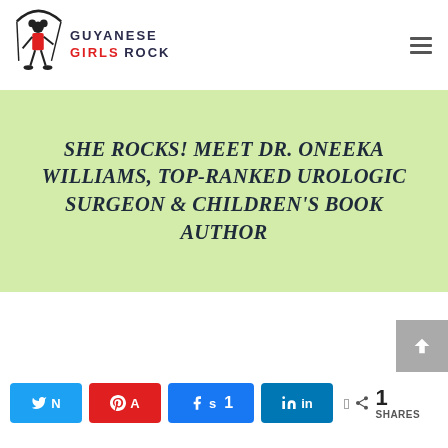Guyanese Girls Rock — logo and navigation
SHE ROCKS! MEET DR. ONEEKA WILLIAMS, TOP-RANKED UROLOGIC SURGEON & CHILDREN'S BOOK AUTHOR
[Figure (infographic): Social sharing bar with Twitter, Pinterest, Facebook (1 share), LinkedIn buttons and share count of 1 SHARES]